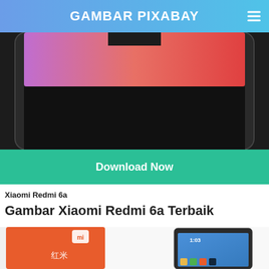GAMBAR PIXABAY
[Figure (photo): Xiaomi Redmi 6a smartphone showing pink and red gradient screen, top portion visible with notch area, dark bezel]
[Figure (other): Download Now button - green/teal colored button]
Xiaomi Redmi 6a
Gambar Xiaomi Redmi 6a Terbaik
[Figure (photo): Xiaomi Redmi 6a unboxing photo showing orange product box with Mi logo and Chinese text '红米' alongside the smartphone displaying home screen at 1:03]